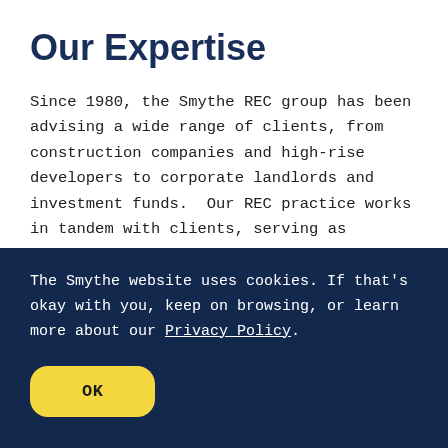Our Expertise
Since 1980, the Smythe REC group has been advising a wide range of clients, from construction companies and high-rise developers to corporate landlords and investment funds.  Our REC practice works in tandem with clients, serving as advisors along every step of their business growth journey. We are fully equipped to provide
The Smythe website uses cookies. If that’s okay with you, keep on browsing, or learn more about our Privacy Policy.
OK